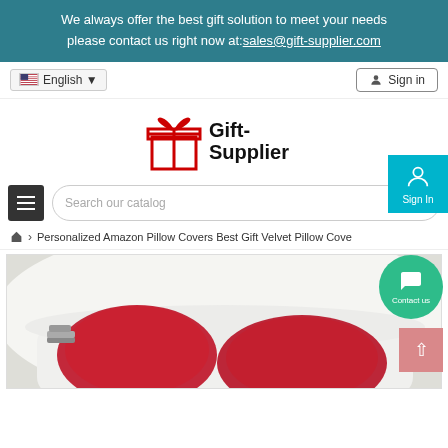We always offer the best gift solution to meet your needs please contact us right now at: sales@gift-supplier.com
English ▼
Sign in
[Figure (logo): Gift-Supplier logo with red gift box icon and bold text 'Gift-Supplier']
Search our catalog
Personalized Amazon Pillow Covers Best Gift Velvet Pillow Cove...
[Figure (photo): Product photo showing red velvet pillow covers on a white fluffy sofa with white curtain background]